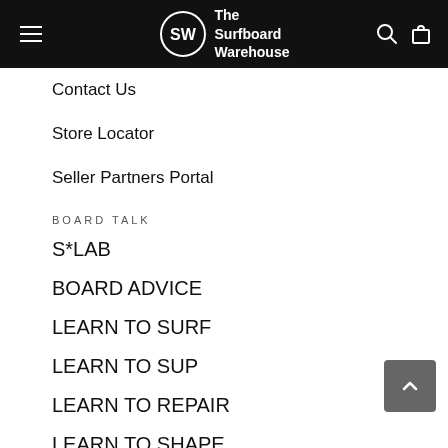The Surfboard Warehouse
Contact Us
Store Locator
Seller Partners Portal
BOARD TALK
S*LAB
BOARD ADVICE
LEARN TO SURF
LEARN TO SUP
LEARN TO REPAIR
LEARN TO SHAPE
INFO
Pre Orders